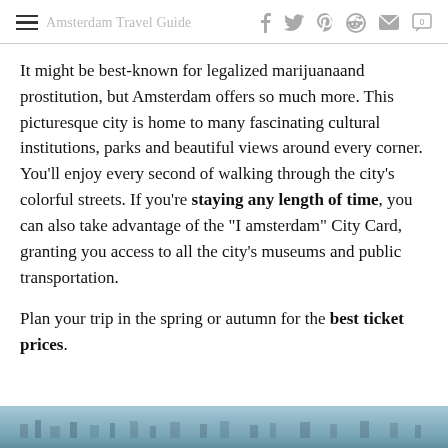Amsterdam Travel Guide — social share icons (facebook, twitter, pinterest, reddit, mail, comment)
It might be best-known for legalized marijuanaand prostitution, but Amsterdam offers so much more. This picturesque city is home to many fascinating cultural institutions, parks and beautiful views around every corner. You'll enjoy every second of walking through the city's colorful streets. If you're staying any length of time, you can also take advantage of the "I amsterdam" City Card, granting you access to all the city's museums and public transportation.
Plan your trip in the spring or autumn for the best ticket prices.
[Figure (photo): Photo strip at bottom showing Amsterdam cityscape/waterfront view]